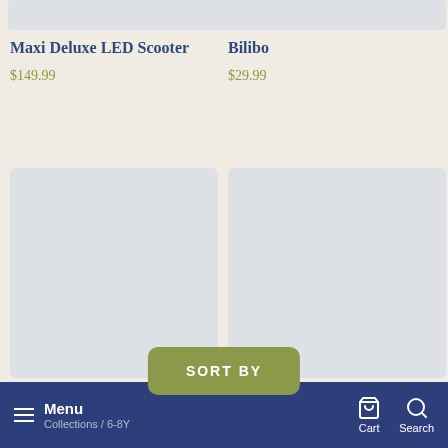[Figure (photo): Product image placeholder for Maxi Deluxe LED Scooter (top, partial)]
Maxi Deluxe LED Scooter
$149.99
[Figure (photo): Product image placeholder for Bilibo (top, partial)]
Bilibo
$29.99
[Figure (photo): Product image placeholder for Brain Quest Decks]
[Figure (photo): Product image placeholder for Squigz - Deluxe Sets]
SORT BY
Brain Quest Decks
Squigz - Deluxe Sets
Menu Collections / 6-8Y   Cart   Search